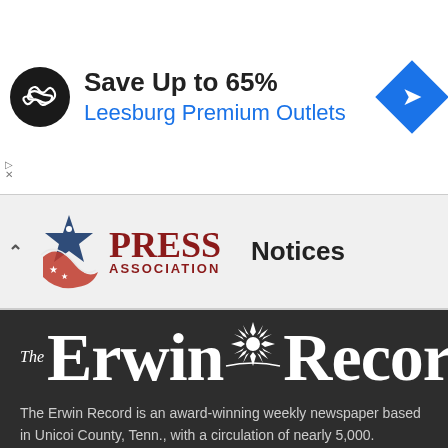[Figure (infographic): Advertisement banner: circular black icon with infinity/loop symbol, text 'Save Up to 65%' in bold black and 'Leesburg Premium Outlets' in blue, blue diamond navigation icon on right]
[Figure (logo): Press Association logo with eagle/flag graphic, 'PRESS' in large red serif, 'ASSOCIATION' in smaller red text below, followed by 'Notices' in bold black]
[Figure (logo): The Erwin Record logo in white serif font on dark background with sunburst emblem between 'Erwin' and 'Record']
The Erwin Record is an award-winning weekly newspaper based in Unicoi County, Tenn., with a circulation of nearly 5,000.